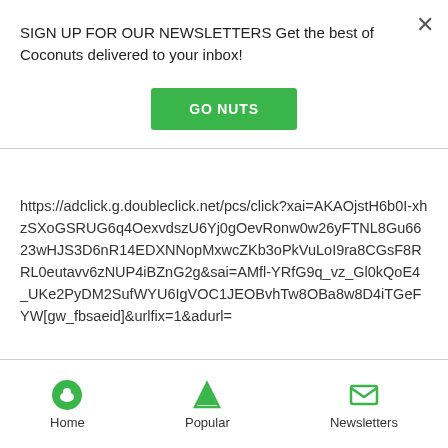SIGN UP FOR OUR NEWSLETTERS Get the best of Coconuts delivered to your inbox!
[Figure (other): Green GO NUTS button]
https://adclick.g.doubleclick.net/pcs/click?xai=AKAOjstH6b0I-xhzSXoGSRUG6q4OexvdszU6Yj0gOevRonw0w26yFTNL8Gu6623wHJS3D6nR14EDXNNopMxwcZKb3oPkVuLoI9ra8CGsF8RRL0eutavv6zNUP4iBZnG2g&sai=AMfl-YRfG9q_vz_Gl0kQoE4_UKe2PyDM2SufWYU6IgVOC1JEOBvhTw8OBa8w8D4iTGeFYW[gw_fbsaeid]&urlfix=1&adurl=
[Figure (other): Bottom navigation bar with Home, Popular, and Newsletters icons]